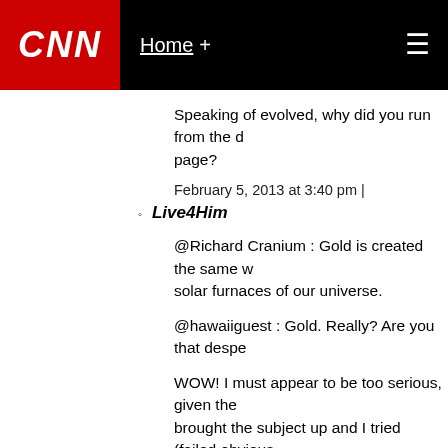CNN | Home +
Speaking of evolved, why did you run from the d... page?
February 5, 2013 at 3:40 pm |
Live4Him
@Richard Cranium : Gold is created the same w... solar furnaces of our universe.
@hawaiiguest : Gold. Really? Are you that despe...
WOW! I must appear to be too serious, given the... brought the subject up and I tried (failed obvious...
February 5, 2013 at 4:01 pm |
Live4Him
@Tommy : why did you run from the discussion d...
I've got three thoughts to your question: